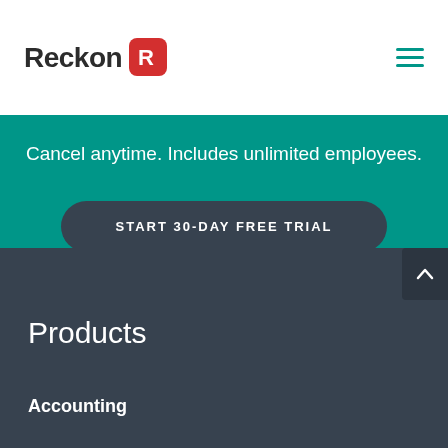Reckon
Cancel anytime. Includes unlimited employees.
START 30-DAY FREE TRIAL
Products
Accounting